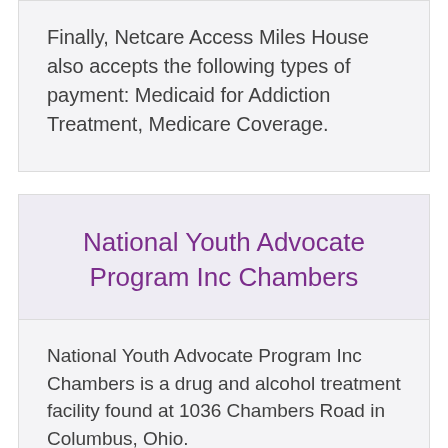Finally, Netcare Access Miles House also accepts the following types of payment: Medicaid for Addiction Treatment, Medicare Coverage.
National Youth Advocate Program Inc Chambers
National Youth Advocate Program Inc Chambers is a drug and alcohol treatment facility found at 1036 Chambers Road in Columbus, Ohio.
The facility uses major approaches to